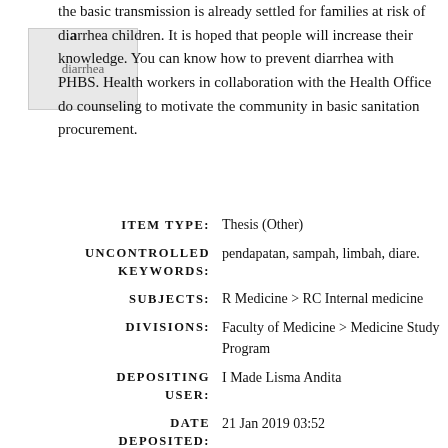the basic transmission is already settled for families at risk of diarrhea children. It is hoped that people will increase their knowledge. You can know how to prevent diarrhea with PHBS. Health workers in collaboration with the Health Office do counseling to motivate the community in basic sanitation procurement.
ITEM TYPE: Thesis (Other)
UNCONTROLLED KEYWORDS: pendapatan, sampah, limbah, diare.
SUBJECTS: R Medicine > RC Internal medicine
DIVISIONS: Faculty of Medicine > Medicine Study Program
DEPOSITING USER: I Made Lisma Andita
DATE DEPOSITED: 21 Jan 2019 03:52
LAST MODIFIED: 21 Jan 2019 03:52
URL: http://erepository.uwks.ac.id/id/eprint/2...